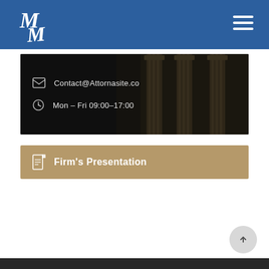MM Law Firm - header navigation bar with logo and hamburger menu
[Figure (photo): Dark background photo of classical Greek/Roman architectural columns with contact information overlaid: email Contact@Attornasite.co and hours Mon - Fri 09:00-17:00]
Contact@Attornasite.co
Mon – Fri 09:00–17:00
Firm's Presentation
Dark footer bar